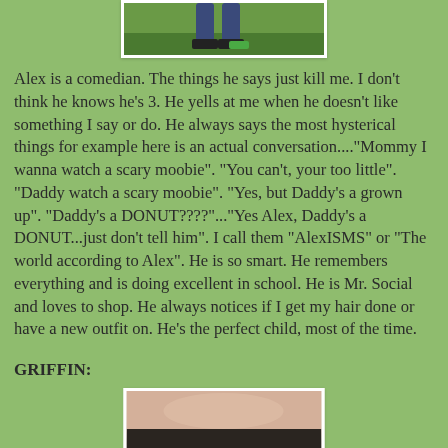[Figure (photo): Top portion of a photo showing feet/legs on green grass, with white border]
Alex is a comedian. The things he says just kill me. I don't think he knows he's 3. He yells at me when he doesn't like something I say or do. He always says the most hysterical things for example here is an actual conversation...."Mommy I wanna watch a scary moobie". "You can't, your too little". "Daddy watch a scary moobie". "Yes, but Daddy's a grown up". "Daddy's a DONUT????"..."Yes Alex, Daddy's a DONUT...just don't tell him". I call them "AlexISMS" or "The world according to Alex". He is so smart. He remembers everything and is doing excellent in school. He is Mr. Social and loves to shop. He always notices if I get my hair done or have a new outfit on. He's the perfect child, most of the time.
GRIFFIN:
[Figure (photo): Bottom portion of a photo showing close-up of a child's face/skin, partially visible]